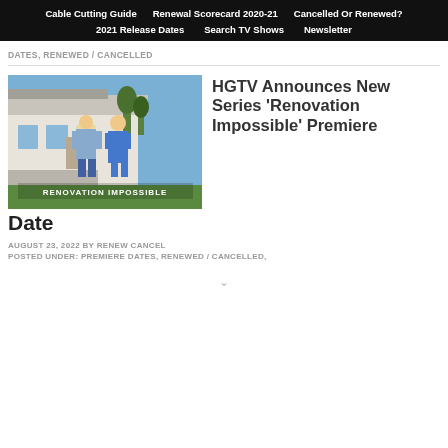Cable Cutting Guide | Renewal Scorecard 2020-21 | Cancelled Or Renewed? | 2021 Release Dates | Search TV Shows | Newsletter
DATES, RENEWED / CANCELLED
[Figure (photo): Two people (man in cowboy hat and blue shirt, woman in blue dress) standing in front of a house with text overlay 'RENOVATION IMPOSSIBLE']
HGTV Announces New Series 'Renovation Impossible' Premiere Date
AUGUST 23, 2022 BY RENEW CANCEL
POSTED UNDER: PREMIERE DATES, RENEWED / CANCELLED,